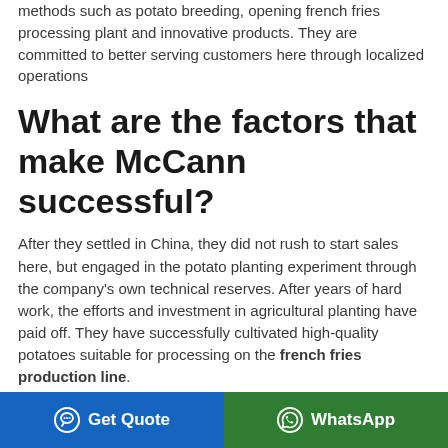methods such as potato breeding, opening french fries processing plant and innovative products. They are committed to better serving customers here through localized operations
What are the factors that make McCann successful?
After they settled in China, they did not rush to start sales here, but engaged in the potato planting experiment through the company's own technical reserves. After years of hard work, the efforts and investment in agricultural planting have paid off. They have successfully cultivated high-quality potatoes suitable for processing on the french fries production line.
Establish french fries
Get Quote | WhatsApp